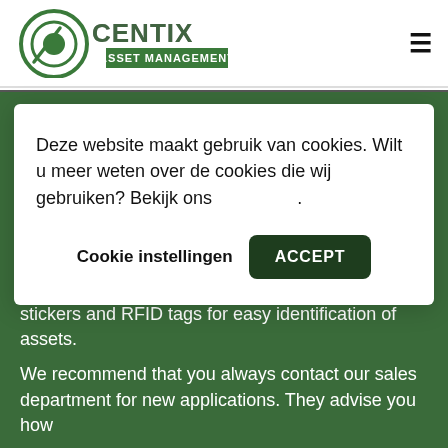[Figure (logo): Centix Asset Management logo — green circular target icon with CENTIX in large green/gray letters and ASSET MANAGEMENT underneath]
Deze website maakt gebruik van cookies. Wilt u meer weten over de cookies die wij gebruiken? Bekijk ons .
Cookie instellingen
ACCEPT
stickers and RFID tags for easy identification of assets.
We recommend that you always contact our sales department for new applications. They advise you how